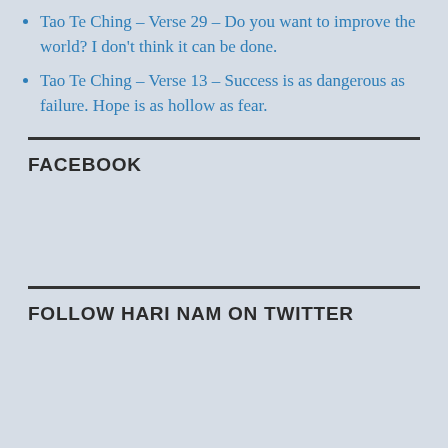Tao Te Ching - Verse 29 - Do you want to improve the world? I don't think it can be done.
Tao Te Ching - Verse 13 - Success is as dangerous as failure. Hope is as hollow as fear.
FACEBOOK
FOLLOW HARI NAM ON TWITTER